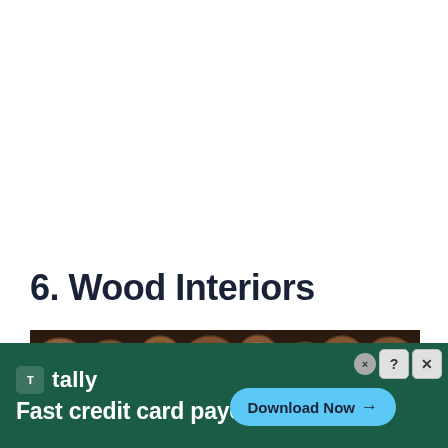6. Wood Interiors
[Figure (photo): A horizontal strip photo showing cross-sections of logs/wood rounds arranged as a decorative wall feature, showing circular wood grain patterns in warm brown tones against a dark background.]
[Figure (other): Advertisement banner for Tally app — dark green background, white Tally logo and text 'Fast credit card payoff', blue 'Download Now' button with arrow, close/help buttons in top right corner.]